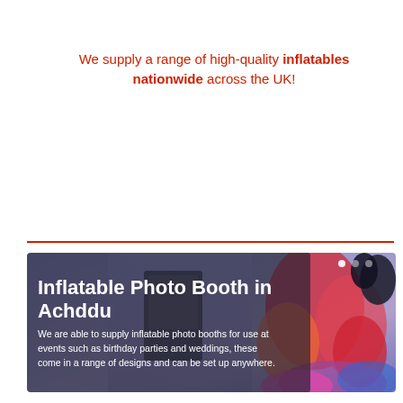We supply a range of high-quality inflatables nationwide across the UK!
[Figure (photo): Inflatable photo booth scene with colorful inflatables at an event, showing a large purple/blue background with people and inflatable decorations. Contains text overlay: 'Inflatable Photo Booth in Achddu' and description about supply services.]